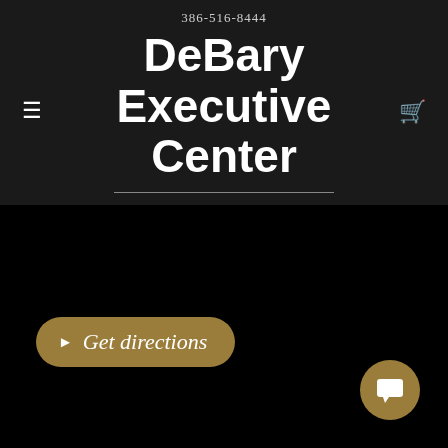386-516-8444
DeBary Executive Center
[Figure (screenshot): Black background map/location area with a gold 'Get directions' button and a gold circular chat button in the bottom right corner]